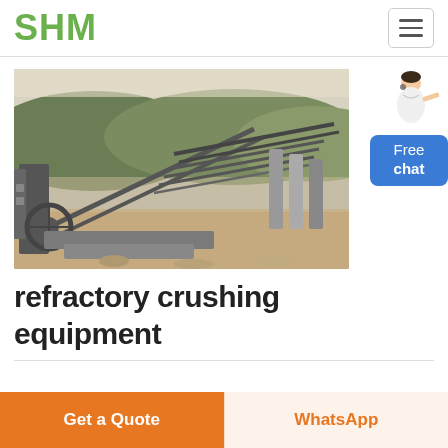SHM
[Figure (photo): Outdoor photo of refractory crushing equipment at a quarry or mining site, showing conveyor belts, mechanical arms, and industrial machinery against a backdrop of rocky hills and vegetation.]
[Figure (photo): Small image of a female customer support representative in white top, pointing to the side, above a blue 'Free chat' button widget.]
refractory crushing equipment